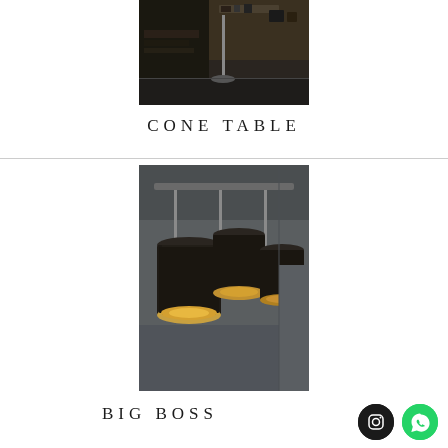[Figure (photo): A floor lamp photographed in a dark interior setting with furniture and shelving in the background. The lamp has a thin pole and circular base on a dark floor.]
CONE TABLE
[Figure (photo): Three pendant lamp shades hanging from a ceiling rail. The shades are cylindrical and dark on the outside with warm golden-toned interior. The lamps hang at slightly different lengths and positions.]
BIG BOSS